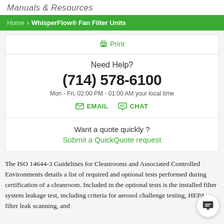Manuals & Resources
Home > WhisperFlow® Fan Filter Units
Print
Need Help?
(714) 578-6100
Mon - Fri, 02:00 PM - 01:00 AM your local time
EMAIL  CHAT
Want a quote quickly ?
Submit a QuickQuote request
The ISO 14644-3 Guidelines for Cleanrooms and Associated Controlled Environments details a list of required and optional tests performed during certification of a cleanroom. Included in the optional tests is the installed filter system leakage test, including criteria for aerosol challenge testing, HEPA filter leak scanning, and